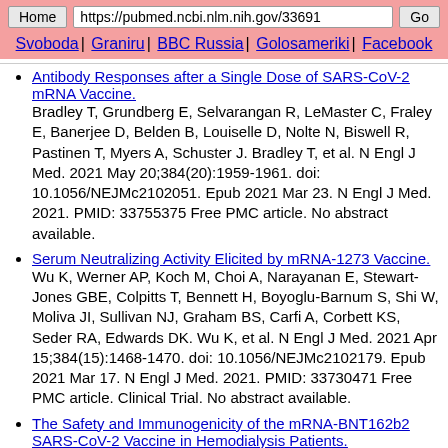Home | https://pubmed.ncbi.nlm.nih.gov/33691 | Go
Svoboda | Graniru | BBC Russia | Golosameriki | Facebook
Antibody Responses after a Single Dose of SARS-CoV-2 mRNA Vaccine.
Bradley T, Grundberg E, Selvarangan R, LeMaster C, Fraley E, Banerjee D, Belden B, Louiselle D, Nolte N, Biswell R, Pastinen T, Myers A, Schuster J. Bradley T, et al. N Engl J Med. 2021 May 20;384(20):1959-1961. doi: 10.1056/NEJMc2102051. Epub 2021 Mar 23. N Engl J Med. 2021. PMID: 33755375 Free PMC article. No abstract available.
Serum Neutralizing Activity Elicited by mRNA-1273 Vaccine.
Wu K, Werner AP, Koch M, Choi A, Narayanan E, Stewart-Jones GBE, Colpitts T, Bennett H, Boyoglu-Barnum S, Shi W, Moliva JI, Sullivan NJ, Graham BS, Carfi A, Corbett KS, Seder RA, Edwards DK. Wu K, et al. N Engl J Med. 2021 Apr 15;384(15):1468-1470. doi: 10.1056/NEJMc2102179. Epub 2021 Mar 17. N Engl J Med. 2021. PMID: 33730471 Free PMC article. Clinical Trial. No abstract available.
The Safety and Immunogenicity of the mRNA-BNT162b2 SARS-CoV-2 Vaccine in Hemodialysis Patients.
Zitt E, Davidovic T, Schimpf J, Abbassi-Nik A...